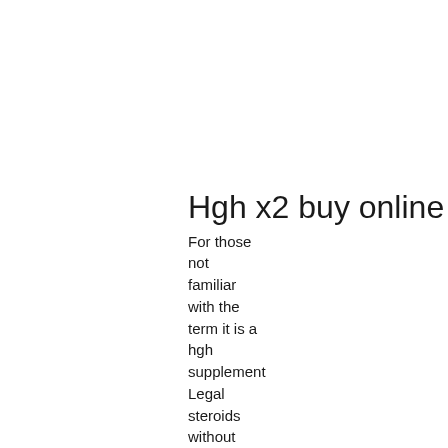Hgh x2 buy online
For those not familiar with the term it is a hgh supplement Legal steroids without